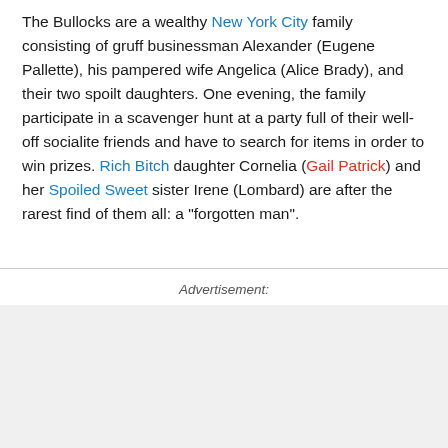The Bullocks are a wealthy New York City family consisting of gruff businessman Alexander (Eugene Pallette), his pampered wife Angelica (Alice Brady), and their two spoilt daughters. One evening, the family participate in a scavenger hunt at a party full of their well-off socialite friends and have to search for items in order to win prizes. Rich Bitch daughter Cornelia (Gail Patrick) and her Spoiled Sweet sister Irene (Lombard) are after the rarest find of them all: a "forgotten man".
Advertisement: